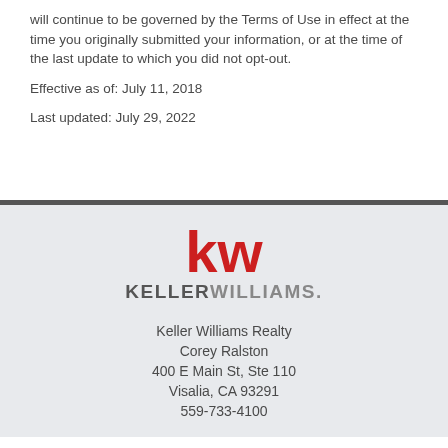will continue to be governed by the Terms of Use in effect at the time you originally submitted your information, or at the time of the last update to which you did not opt-out.
Effective as of: July 11, 2018
Last updated: July 29, 2022
[Figure (logo): Keller Williams logo with red 'kw' letters and gray 'KELLERWILLIAMS.' text below]
Keller Williams Realty
Corey Ralston
400 E Main St, Ste 110
Visalia, CA 93291
559-733-4100